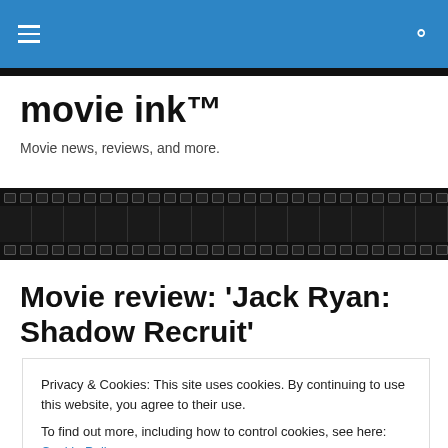movie ink™ — navigation bar with hamburger menu and search icon
movie ink™
Movie news, reviews, and more.
[Figure (illustration): Horizontal film strip with sprocket holes on top and bottom and frame dividers]
Movie review: 'Jack Ryan: Shadow Recruit'
Privacy & Cookies: This site uses cookies. By continuing to use this website, you agree to their use.
To find out more, including how to control cookies, see here: Cookie Policy